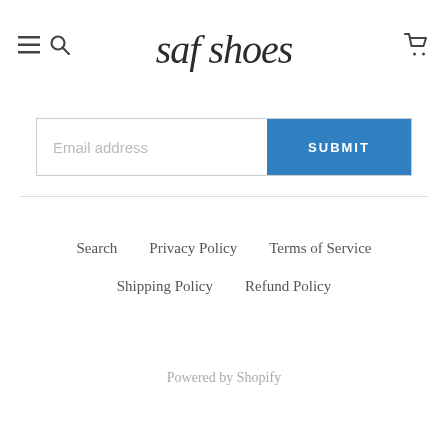saf shoes
[Figure (other): Email subscription form with text input field labeled 'Email address' and a blue SUBMIT button]
Search   Privacy Policy   Terms of Service
Shipping Policy   Refund Policy
Powered by Shopify